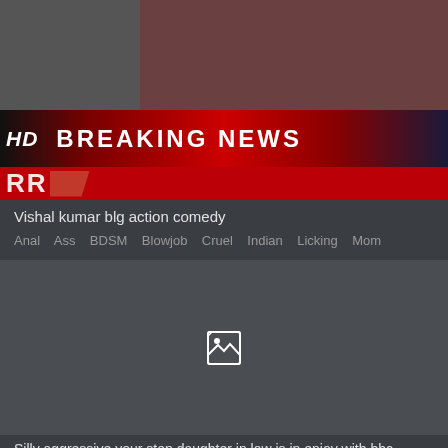[Figure (screenshot): Top portion showing a breaking news banner with 'HD' label and 'BREAKING NEWS' text on a dark red gradient bar, with video thumbnails above]
Vishal kumar blg action comedy
Anal  Ass  BDSM  Blowjob  Cruel  Indian  Licking  Mom
[Figure (other): A broken/missing image placeholder icon on a dark gray background]
Silly aggressive your step daughter in law is in enjoy with bbc
Bbc  Black  Creampie  Cruel  Gangbang  Hardcore  Multiracial